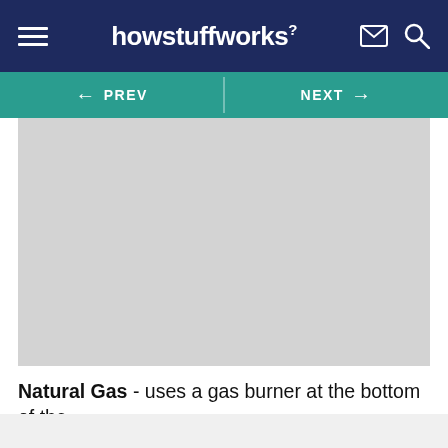howstuffworks
[Figure (screenshot): Gray placeholder image area for a HowStuffWorks article page]
Natural Gas - uses a gas burner at the bottom of the